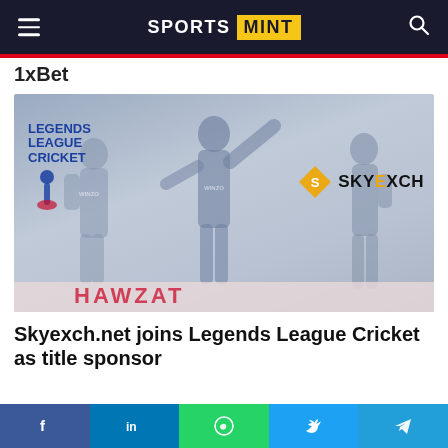SPORTS MINT
1xBet
[Figure (photo): Legends League Cricket and SkyExch.net sponsorship announcement image showing cricket players celebrating with Legends League Cricket and SkyExch logos overlaid]
Skyexch.net joins Legends League Cricket as title sponsor
Social share buttons: Facebook, LinkedIn, WhatsApp, Twitter, Telegram